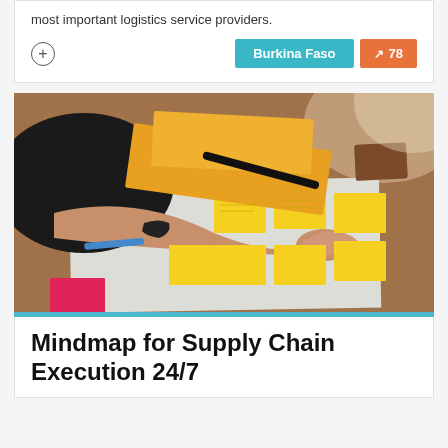most important logistics service providers.
[Figure (photo): A person writing on yellow sticky notes arranged on a white paper/board on a wooden table, resembling a supply chain mindmap or planning session.]
Mindmap for Supply Chain Execution 24/7